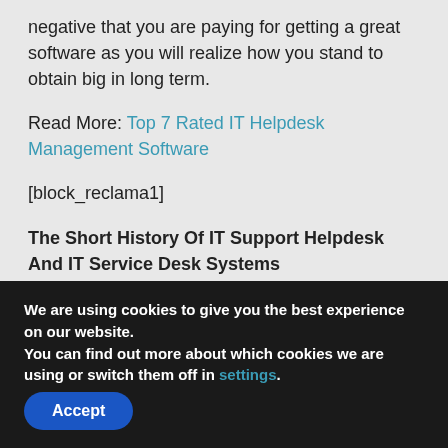negative that you are paying for getting a great software as you will realize how you stand to obtain big in long term.
Read More: Top 7 Rated IT Helpdesk Management Software
[block_reclama1]
The Short History Of IT Support Helpdesk And IT Service Desk Systems
There is a stunning amount of individuals out there who don't know that help desk and service desk are two
We are using cookies to give you the best experience on our website.
You can find out more about which cookies we are using or switch them off in settings.
Accept